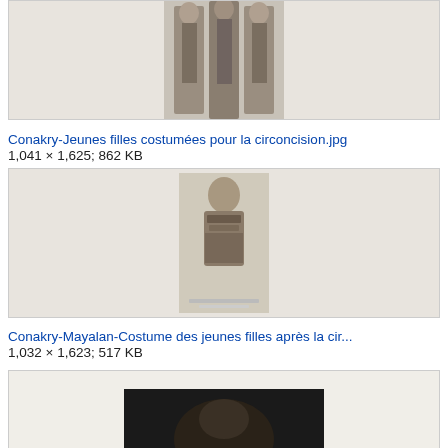[Figure (photo): Black and white historical photograph showing three figures in traditional costume, partially cropped at top]
Conakry-Jeunes filles costumées pour la circoncision.jpg
1,041 × 1,625; 862 KB
[Figure (photo): Black and white historical photograph of a person in traditional costume, seated or standing, with decorative clothing]
Conakry-Mayalan-Costume des jeunes filles après la cir...
1,032 × 1,623; 517 KB
[Figure (photo): Partially visible dark photograph at the bottom of the page, mostly cut off]